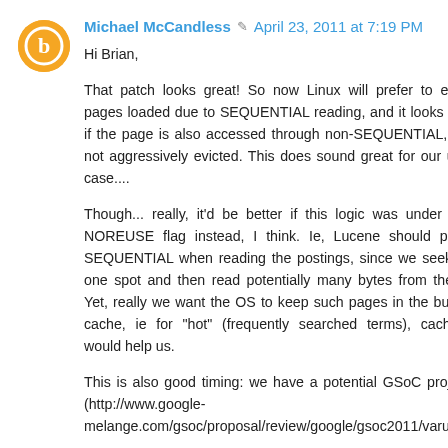[Figure (illustration): Orange circular Blogger avatar icon with white letter B]
Michael McCandless ✎ April 23, 2011 at 7:19 PM
Hi Brian,
That patch looks great! So now Linux will prefer to evict pages loaded due to SEQUENTIAL reading, and it looks like if the page is also accessed through non-SEQUENTIAL, it's not aggressively evicted. This does sound great for our use case....
Though... really, it'd be better if this logic was under the NOREUSE flag instead, I think. Ie, Lucene should pass SEQUENTIAL when reading the postings, since we seek to one spot and then read potentially many bytes from there. Yet, really we want the OS to keep such pages in the buffer cache, ie for "hot" (frequently searched terms), caching would help us.
This is also good timing: we have a potential GSoC project (http://www.google-melange.com/gsoc/proposal/review/google/gsoc2011/varun...} that will make it possible for apps to distinguish...